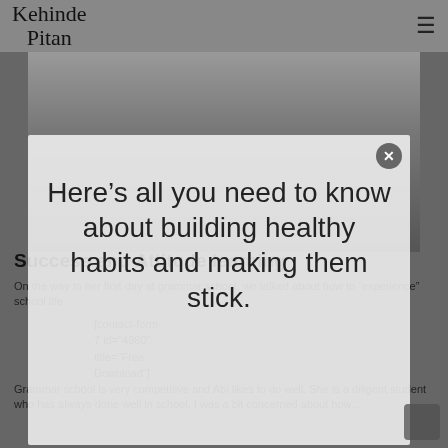Kehinde Pitan
[Figure (photo): Black and white photo of a person studying or reading, partially visible behind modal overlay]
Here’s all you need to know about building healthy habits and making them stick.
Success and Attitude learning
On the way to her first day at grammar school, we talked about how to “experience” school life.
[contact-form-7 id="4980" title="Free Download"]
Grammar school is very competitive and Abi likes to do well. She is a diligent student who has always done well in school. I was a bit concerned about how...